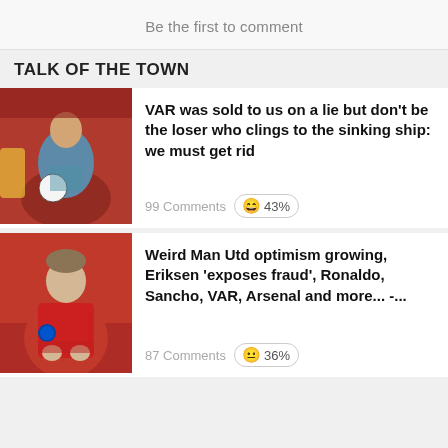Be the first to comment
TALK OF THE TOWN
[Figure (photo): Photo of a referee holding a football, players in background with red jerseys]
VAR was sold to us on a lie but don't be the loser who clings to the sinking ship: we must get rid
99 Comments 😄 43%
[Figure (photo): Photo of a footballer in a red Manchester United jersey applauding]
Weird Man Utd optimism growing, Eriksen 'exposes fraud', Ronaldo, Sancho, VAR, Arsenal and more... -...
87 Comments 😐 36%